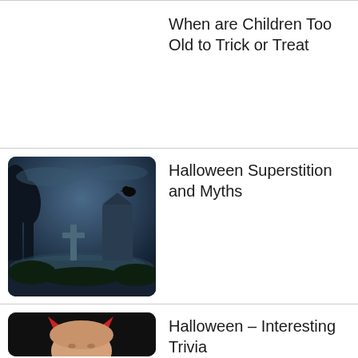When are Children Too Old to Trick or Treat
[Figure (photo): Spooky graveyard scene at night with a raven sitting on top of a gravestone, crosses visible in the misty blue-toned cemetery]
Halloween Superstition and Myths
[Figure (photo): Young woman or girl wearing red devil horns on dark background, partial face visible]
Halloween – Interesting Trivia